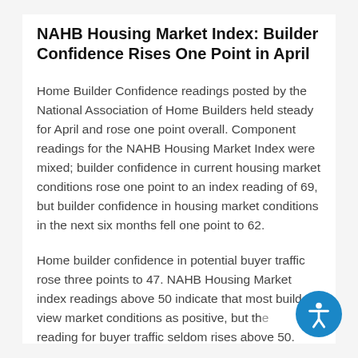NAHB Housing Market Index: Builder Confidence Rises One Point in April
Home Builder Confidence readings posted by the National Association of Home Builders held steady for April and rose one point overall. Component readings for the NAHB Housing Market Index were mixed; builder confidence in current housing market conditions rose one point to an index reading of 69, but builder confidence in housing market conditions in the next six months fell one point to 62.
Home builder confidence in potential buyer traffic rose three points to 47. NAHB Housing Market index readings above 50 indicate that most builders view market conditions as positive, but the reading for buyer traffic seldom rises above 50.